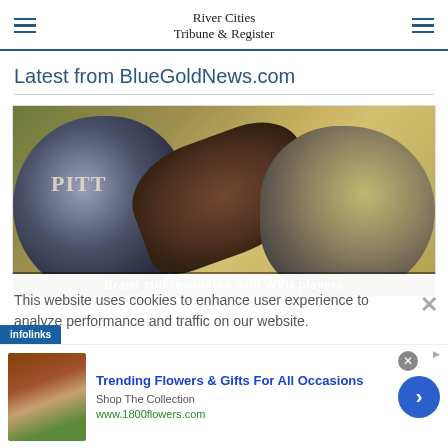River Cities Tribune & Register
Latest from BlueGoldNews.com
[Figure (photo): Two football players in helmets — one wearing a Pitt helmet (dark blue/silver) on the left, one wearing a WVU helmet (gold/grey) on the right, with an arm/hand between them. Overlay text at bottom reads: 'Brawl still resonates with WVU players']
This website uses cookies to enhance user experience to analyze performance and traffic on our website.
[Figure (infographic): Advertisement: Trending Flowers & Gifts For All Occasions — Shop The Collection — www.1800flowers.com — with woman holding flowers image, blue forward arrow button, infolinks label and close button]